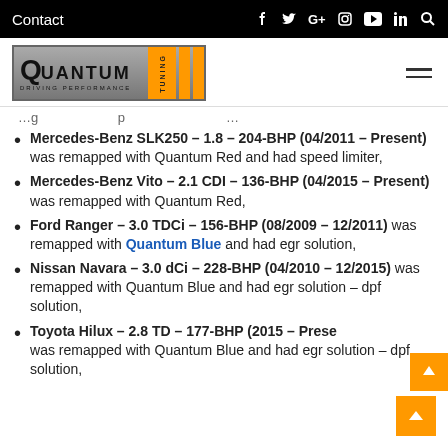Contact
[Figure (logo): Quantum Tuning – Driving Performance logo with orange bars]
...g...p...
Mercedes-Benz SLK250 – 1.8 – 204-BHP (04/2011 – Present) was remapped with Quantum Red and had speed limiter,
Mercedes-Benz Vito – 2.1 CDI – 136-BHP (04/2015 – Present) was remapped with Quantum Red,
Ford Ranger – 3.0 TDCi – 156-BHP (08/2009 – 12/2011) was remapped with Quantum Blue and had egr solution,
Nissan Navara – 3.0 dCi – 228-BHP (04/2010 – 12/2015) was remapped with Quantum Blue and had egr solution – dpf solution,
Toyota Hilux – 2.8 TD – 177-BHP (2015 – Present) was remapped with Quantum Blue and had egr solution – dpf solution,